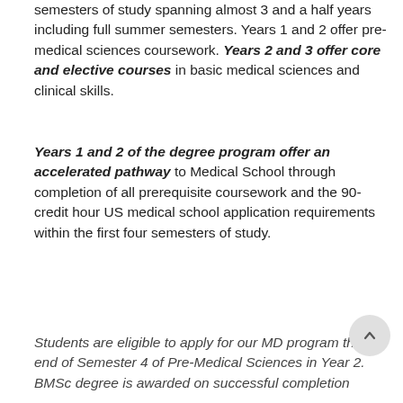semesters of study spanning almost 3 and a half years including full summer semesters. Years 1 and 2 offer pre-medical sciences coursework. Years 2 and 3 offer core and elective courses in basic medical sciences and clinical skills.
Years 1 and 2 of the degree program offer an accelerated pathway to Medical School through completion of all prerequisite coursework and the 90-credit hour US medical school application requirements within the first four semesters of study.
Students are eligible to apply for our MD program at the end of Semester 4 of Pre-Medical Sciences in Year 2. BMSc degree is awarded on successful completion